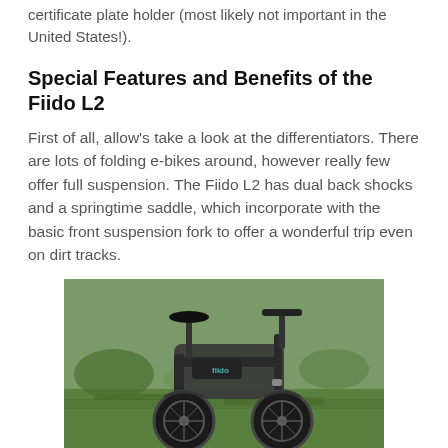certificate plate holder (most likely not important in the United States!).
Special Features and Benefits of the Fiido L2
First of all, allow's take a look at the differentiators. There are lots of folding e-bikes around, however really few offer full suspension. The Fiido L2 has dual back shocks and a springtime saddle, which incorporate with the basic front suspension fork to offer a wonderful trip even on dirt tracks.
[Figure (photo): Photograph of the Fiido L2 folding electric bike parked outdoors on grass, showing the folded frame, front suspension fork, large wheels, and handlebars against a green park background.]